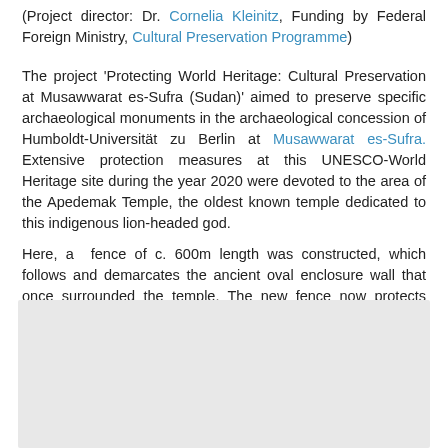(Project director: Dr. Cornelia Kleinitz, Funding by Federal Foreign Ministry, Cultural Preservation Programme)
The project 'Protecting World Heritage: Cultural Preservation at Musawwarat es-Sufra (Sudan)' aimed to preserve specific archaeological monuments in the archaeological concession of Humboldt-Universität zu Berlin at Musawwarat es-Sufra. Extensive protection measures at this UNESCO-World Heritage site during the year 2020 were devoted to the area of the Apedemak Temple, the oldest known temple dedicated to this indigenous lion-headed god.
Here, a  fence of c. 600m length was constructed, which follows and demarcates the ancient oval enclosure wall that once surrounded the temple. The new fence now protects what appears to have been the sacred precinct of the Apedemak Temple. This area had been transected by a road and partially served as a parking space before protective measures were implemented.
[Figure (photo): A grey/light image placeholder box at the bottom of the page, likely an image of the Musawwarat es-Sufra site or the fence construction.]